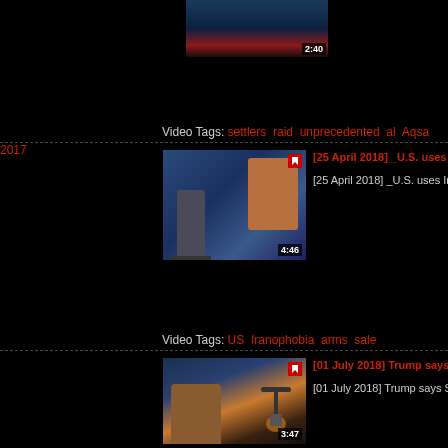[Figure (screenshot): Video thumbnail showing a news studio scene, duration 2:40]
Video Tags: settlers raid unprecedented al Aqsa 2017
[Figure (screenshot): Video thumbnail showing a man in studio with portrait images, duration 4:46]
[25 April 2018] _U.S. uses Iranophobia to incr...
[25 April 2018] _U.S. uses Iranophobia to increas...
Video Tags: US Iranophobia arms sale
[Figure (screenshot): Video thumbnail showing a female news anchor with oil pump in background, duration 3:47]
[01 July 2018] Trump says Saudi Arabia greed to...
[01 July 2018] Trump says Saudi Arabia greed to...